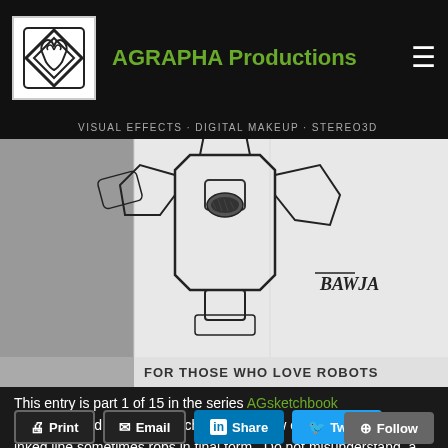AGRAPHA Productions — VISUAL EFFECTS · DIGITAL MAKEUP · STEREO3D
[Figure (illustration): Pencil sketch of a robot character upper body with mechanical arms and torso. Signed 'BAWJA'. Text overlay at bottom reads 'FOR THOSE WHO LOVE ROBOTS'.]
This entry is part 1 of 15 in the series AGsketchbook
I Love A Good Sketch. Sketches have a raw energy to them that an inked line sometimes robs in final form.  Do not misunderstand, a fully inked final image when done right is a beauty (Frazetta and Kirby come to mind), but that initial idea and energy are in the …